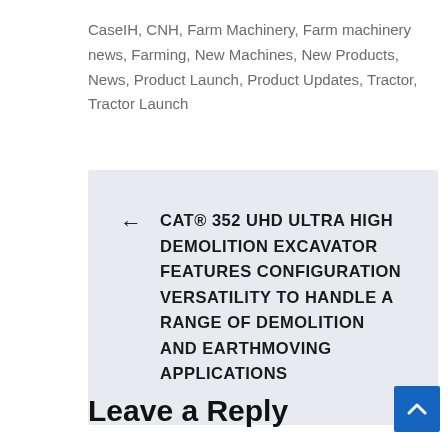CaseIH, CNH, Farm Machinery, Farm machinery news, Farming, New Machines, New Products, News, Product Launch, Product Updates, Tractor, Tractor Launch
← CAT® 352 UHD ULTRA HIGH DEMOLITION EXCAVATOR FEATURES CONFIGURATION VERSATILITY TO HANDLE A RANGE OF DEMOLITION AND EARTHMOVING APPLICATIONS
Leave a Reply